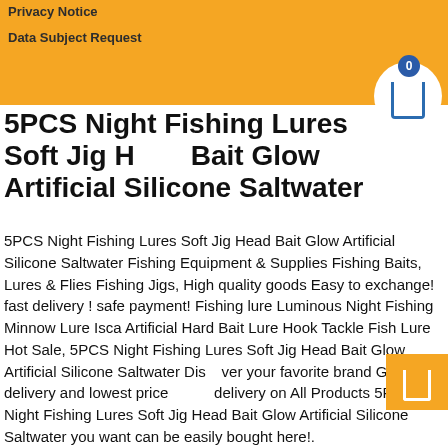Privacy Notice
Data Subject Request
5PCS Night Fishing Lures Soft Jig Head Bait Glow Artificial Silicone Saltwater
5PCS Night Fishing Lures Soft Jig Head Bait Glow Artificial Silicone Saltwater Fishing Equipment & Supplies Fishing Baits, Lures & Flies Fishing Jigs, High quality goods Easy to exchange! fast delivery ! safe payment! Fishing lure Luminous Night Fishing Minnow Lure Isca Artificial Hard Bait Lure Hook Tackle Fish Lure Hot Sale, 5PCS Night Fishing Lures Soft Jig Head Bait Glow Artificial Silicone Saltwater Discover your favorite brand Get fast delivery and lowest prices! free delivery on All Products 5PCS Night Fishing Lures Soft Jig Head Bait Glow Artificial Silicone Saltwater you want can be easily bought here!.